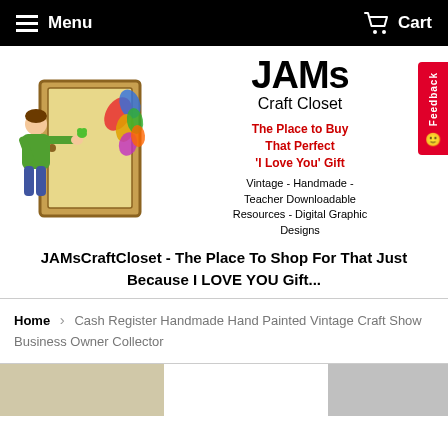Menu   Cart
[Figure (illustration): JAMs Craft Closet store banner logo with a cartoon illustration of a person opening a closet door filled with colorful crafts on the left, and on the right the store name 'JAMs Craft Closet', tagline 'The Place to Buy That Perfect I Love You Gift', and description 'Vintage - Handmade - Teacher Downloadable Resources - Digital Graphic Designs']
JAMsCraftCloset - The Place To Shop For That Just Because I LOVE YOU Gift...
Home > Cash Register Handmade Hand Painted Vintage Craft Show Business Owner Collector